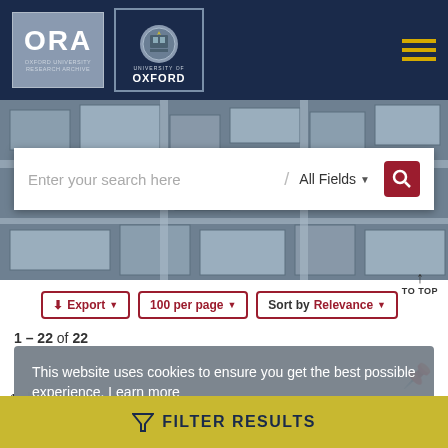[Figure (logo): ORA Oxford University Research Archive logo and University of Oxford crest logo in dark navy header with hamburger menu]
[Figure (photo): Aerial map view of Oxford city used as background behind search bar]
Enter your search here / All Fields ▾
Export ▾   100 per page ▾   Sort by Relevance ▾
↑ TO TOP
1 - 22 of 22
This website uses cookies to ensure you get the best possible experience. Learn more
Got it!
⊁ FILTER RESULTS